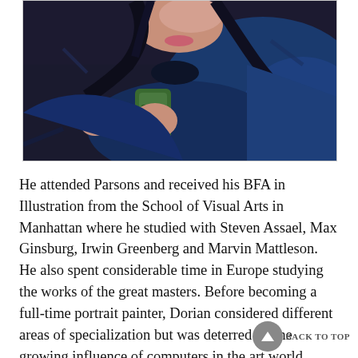[Figure (illustration): Impressionist-style oil painting detail showing a person with dark hair holding a green object, wearing blue clothing, painted with loose expressive brushstrokes.]
He attended Parsons and received his BFA in Illustration from the School of Visual Arts in Manhattan where he studied with Steven Assael, Max Ginsburg, Irwin Greenberg and Marvin Mattleson. He also spent considerable time in Europe studying the works of the great masters. Before becoming a full-time portrait painter, Dorian considered different areas of specialization but was deterred by the growing influence of computers in the art world. Realizing he